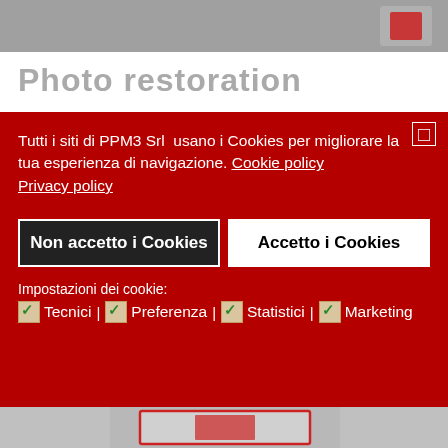[Figure (screenshot): Top blurred gray bar from a website]
Photo restoration
Tutti i siti di PPM3 Srl  usano i Cookies per migliorare la tua esperienza di navigazione. Cookie policy Privacy policy
Non accetto i Cookies | Accetto i Cookies
Impostazioni dei cookie: ✅Tecnici | ✅Preferenza | ✅Statistici | ✅Marketing
[Figure (screenshot): Bottom blurred gray area with red-bordered photo restoration icon]